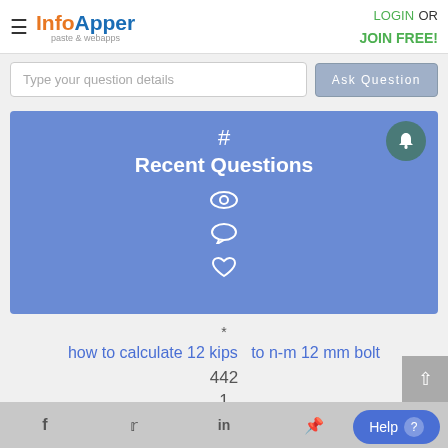InfoApper - paste & webapps | LOGIN OR JOIN FREE!
Type your question details
Ask Question
[Figure (screenshot): Blue banner with hashtag icon, bell notification button, Recent Questions heading, eye icon, speech bubble icon, heart icon]
*
how to calculate 12 kips  to n-m 12 mm bolt
442
1
f  Twitter  in  Pinterest  Help ?